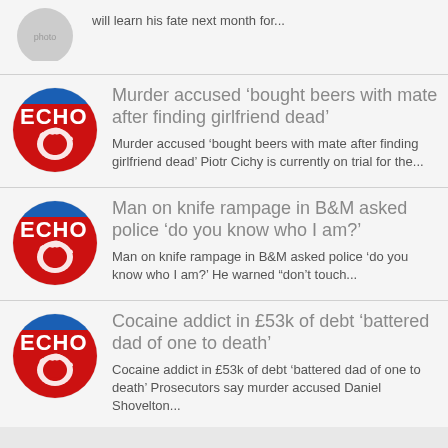will learn his fate next month for...
[Figure (logo): Liverpool Echo circular red logo with Liver bird]
Murder accused 'bought beers with mate after finding girlfriend dead'
Murder accused 'bought beers with mate after finding girlfriend dead' Piotr Cichy is currently on trial for the...
[Figure (logo): Liverpool Echo circular red logo with Liver bird]
Man on knife rampage in B&M asked police 'do you know who I am?'
Man on knife rampage in B&M asked police 'do you know who I am?' He warned “don’t touch...
[Figure (logo): Liverpool Echo circular red logo with Liver bird]
Cocaine addict in £53k of debt 'battered dad of one to death'
Cocaine addict in £53k of debt 'battered dad of one to death' Prosecutors say murder accused Daniel Shovelton...